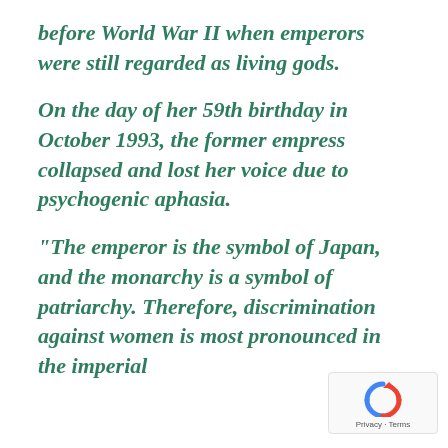before World War II when emperors were still regarded as living gods.
On the day of her 59th birthday in October 1993, the former empress collapsed and lost her voice due to psychogenic aphasia.
“The emperor is the symbol of Japan, and the monarchy is a symbol of patriarchy. Therefore, discrimination against women is most pronounced in the imperial
[Figure (other): reCAPTCHA badge with spinning arrow logo and Privacy - Terms text]